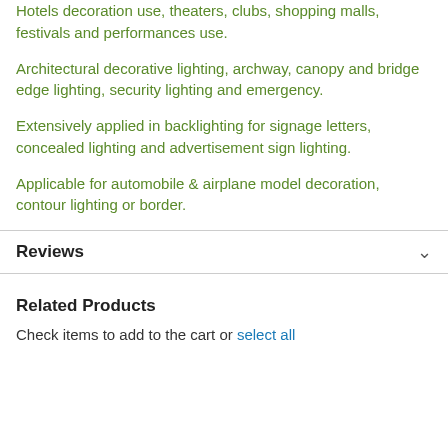Hotels decoration use, theaters, clubs, shopping malls, festivals and performances use.
Architectural decorative lighting, archway, canopy and bridge edge lighting, security lighting and emergency.
Extensively applied in backlighting for signage letters, concealed lighting and advertisement sign lighting.
Applicable for automobile & airplane model decoration, contour lighting or border.
Reviews
Related Products
Check items to add to the cart or select all